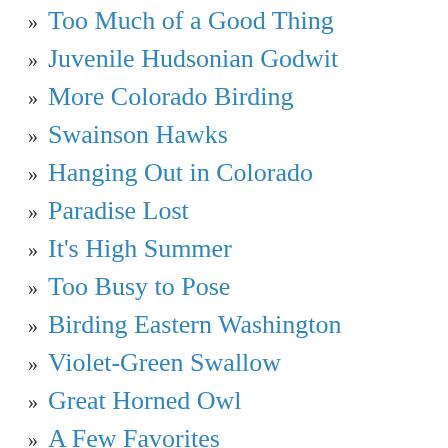Too Much of a Good Thing
Juvenile Hudsonian Godwit
More Colorado Birding
Swainson Hawks
Hanging Out in Colorado
Paradise Lost
It's High Summer
Too Busy to Pose
Birding Eastern Washington
Violet-Green Swallow
Great Horned Owl
A Few Favorites
Rarely Seen
Dunlin
Red-Necked Phalaropes
And on to Bottle Beach
Whirleds Beach